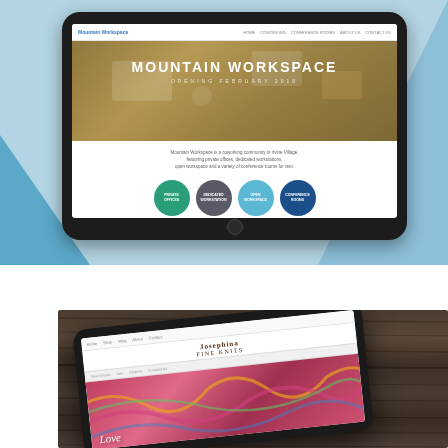[Figure (screenshot): iPad tablet mockup displaying the Mountain Workspace website. The website shows a hero section with 'MOUNTAIN WORKSPACE / OPENING FEBRUARY 2018', a brief description text, and four circular icons: Private Offices (green), Dedicated Workstation (dark grey), Open Workspace (light blue), Conference Rooms (dark blue). Background is light blue with a triangle accent.]
[Figure (screenshot): iPad tablet mockup shown at an angle on a dark wooden surface, displaying a website with 'Josephina Fine Knits' logo and a hero image of a person with colorful yarn/knitting, with italic text overlay reading 'Love...']